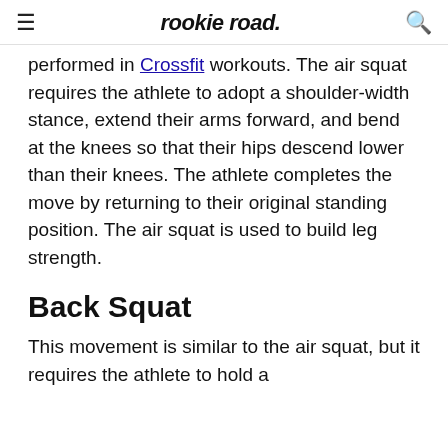rookie road
performed in Crossfit workouts. The air squat requires the athlete to adopt a shoulder-width stance, extend their arms forward, and bend at the knees so that their hips descend lower than their knees. The athlete completes the move by returning to their original standing position. The air squat is used to build leg strength.
Back Squat
This movement is similar to the air squat, but it requires the athlete to hold a